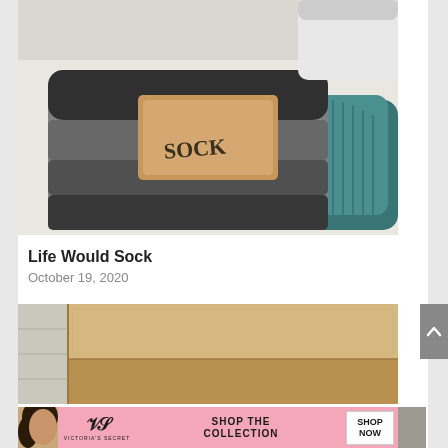[Figure (photo): Multiple pairs of socks bundled together with a tan/kraft paper band labeled 'SOCK', in grey, black, and teal colors on a white surface]
Life Would Sock
October 19, 2020
[Figure (photo): Close-up of a corrugated cardboard shipping box on a tiled floor]
[Figure (photo): Partial view of another image at bottom, with a Victoria's Secret advertisement banner showing a model, VS logo, 'SHOP THE COLLECTION' text, and 'SHOP NOW' button]